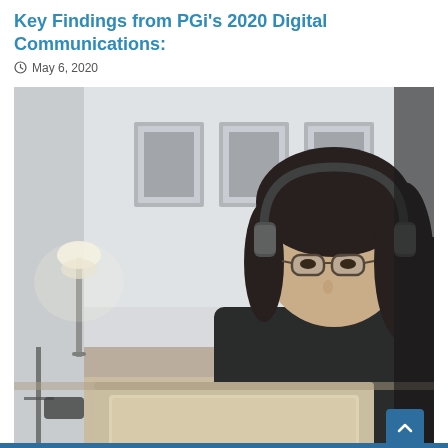Key Findings from PGi's 2020 Digital Communications:
May 6, 2020
[Figure (photo): A young woman with glasses and headphones sits at a wooden desk working on a laptop computer. The background shows a softly lit room with framed artwork on the wall and a floor lamp. The woman is wearing a dark turtleneck sweater and has long dark hair.]